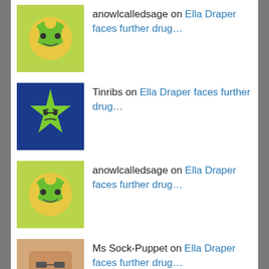anowlcalledsage on Ella Draper faces further drug…
Tinribs on Ella Draper faces further drug…
anowlcalledsage on Ella Draper faces further drug…
Ms Sock-Puppet on Ella Draper faces further drug…
Last 10 posts
Ella Draper faces further drugs charges 10/08/2021
Wong, co-conspirators found guilty of conspiring to kidnap child 09/08/2021
Archer met the law and the law won 20/07/2021
What's Abe been up to lately? 02/07/2021